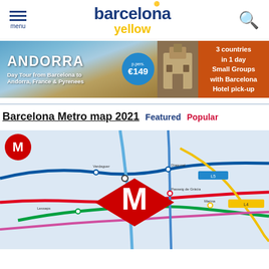barcelona yellow — menu and search
[Figure (infographic): Andorra Day Tour advertisement banner: 'ANDORRA Day Tour from Barcelona to Andorra, France & Pyrenees', price €149 p.pers., '3 countries in 1 day Small Groups with Barcelona Hotel pick-up']
Barcelona Metro map 2021
Featured   Popular
[Figure (map): Barcelona Metro map showing metro lines in various colors (red, blue, green, yellow, pink) with a large red diamond M logo in the center]